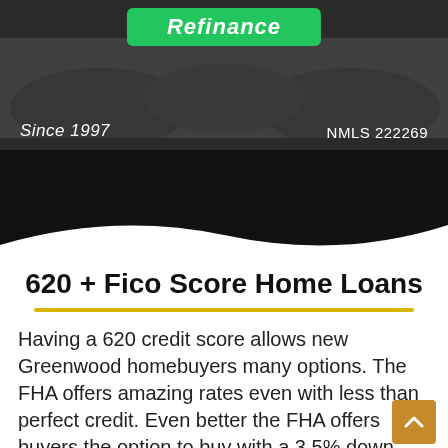[Figure (photo): Banner with dark background, hands photo, green Refinance button, 'Since 1997' and 'NMLS 222269' text]
620 + Fico Score Home Loans
Having a 620 credit score allows new Greenwood homebuyers many options. The FHA offers amazing rates even with less than perfect credit. Even better the FHA offers buyers the option to buy with a 3.5% down